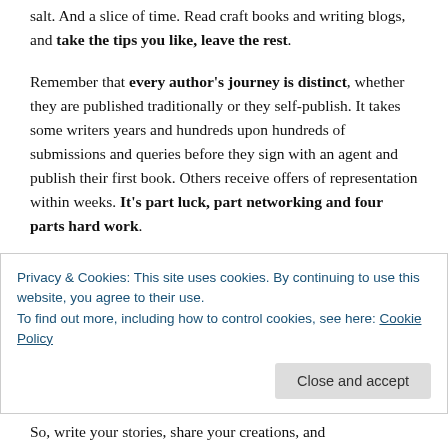salt. And a slice of time. Read craft books and writing blogs, and take the tips you like, leave the rest.
Remember that every author's journey is distinct, whether they are published traditionally or they self-publish. It takes some writers years and hundreds upon hundreds of submissions and queries before they sign with an agent and publish their first book. Others receive offers of representation within weeks. It's part luck, part networking and four parts hard work.
So, next time you find yourself reading a great book and wishing you could create such vivid worlds filled with
Privacy & Cookies: This site uses cookies. By continuing to use this website, you agree to their use.
To find out more, including how to control cookies, see here: Cookie Policy
Close and accept
So, write your stories, share your creations, and